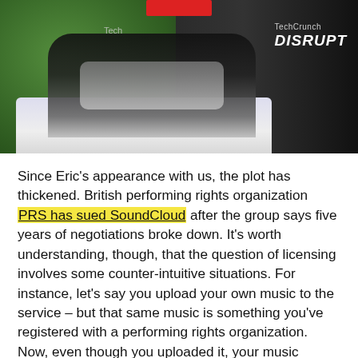[Figure (photo): Photo of a man seated in a white chair holding a microphone at a TechCrunch Disrupt event, with green background visible and TechCrunch Disrupt logo on the right. A red rectangle blurs the face at the top.]
Since Eric's appearance with us, the plot has thickened. British performing rights organization PRS has sued SoundCloud after the group says five years of negotiations broke down. It's worth understanding, though, that the question of licensing involves some counter-intuitive situations. For instance, let's say you upload your own music to the service – but that same music is something you've registered with a performing rights organization. Now, even though you uploaded it, your music should technically cost SoundCloud any time someone plays it. (Incidentally, you don't have to be British in this scenario: PRS is also collecting, say, American songwriters represented by ASCAP and BMI, and other similar organizations around the world.)